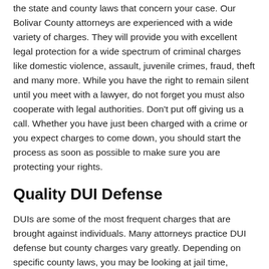the state and county laws that concern your case. Our Bolivar County attorneys are experienced with a wide variety of charges. They will provide you with excellent legal protection for a wide spectrum of criminal charges like domestic violence, assault, juvenile crimes, fraud, theft and many more. While you have the right to remain silent until you meet with a lawyer, do not forget you must also cooperate with legal authorities. Don't put off giving us a call. Whether you have just been charged with a crime or you expect charges to come down, you should start the process as soon as possible to make sure you are protecting your rights.
Quality DUI Defense
DUIs are some of the most frequent charges that are brought against individuals. Many attorneys practice DUI defense but county charges vary greatly. Depending on specific county laws, you may be looking at jail time, alcohol education courses and even hefty fines or suspended driver's license.